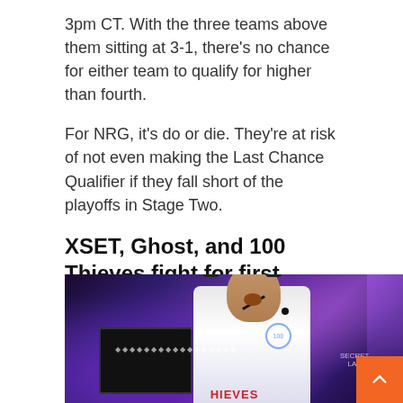3pm CT. With the three teams above them sitting at 3-1, there's no chance for either team to qualify for higher than fourth.
For NRG, it's do or die. They're at risk of not even making the Last Chance Qualifier if they fall short of the playoffs in Stage Two.
XSET, Ghost, and 100 Thieves fight for first place
[Figure (photo): A Valorant esports player in a 100 Thieves jersey screaming/celebrating at a gaming event, sitting in front of a monitor. Purple/blue stage lighting. An orange scroll-to-top button is visible in the bottom right corner.]